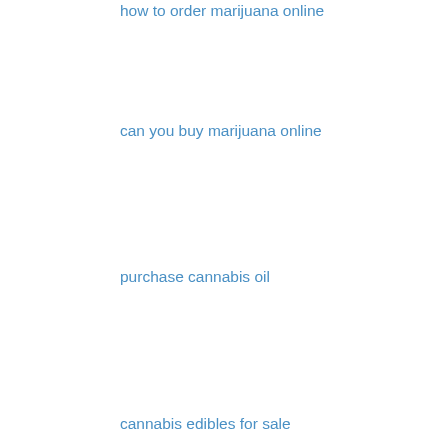how to order marijuana online
can you buy marijuana online
purchase cannabis oil
cannabis edibles for sale
buy vape pens
order cbd oil online
buy co2 cartridge
Reply